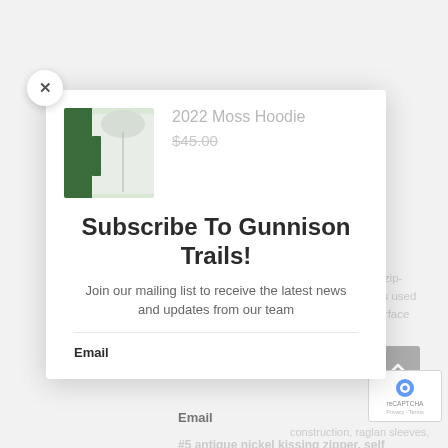[Figure (screenshot): E-commerce product page screenshot showing a 2022 Moss Hoodie with green and white colorway, priced at $45.00, with a popup modal overlay]
Subscribe To Gunnison Trails!
Join our mailing list to receive the latest news and updates from our team
Email